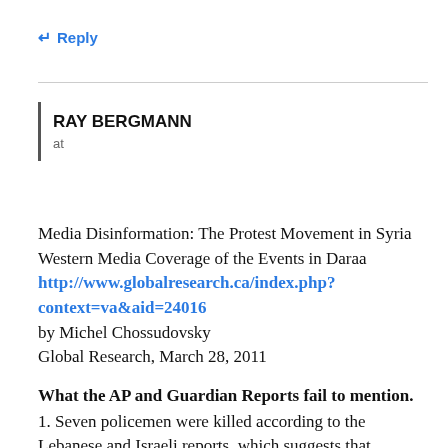↵ Reply
RAY BERGMANN
at
Media Disinformation: The Protest Movement in Syria
Western Media Coverage of the Events in Daraa
http://www.globalresearch.ca/index.php?context=va&aid=24016
by Michel Chossudovsky
Global Research, March 28, 2011
What the AP and Guardian Reports fail to mention.
1. Seven policemen were killed according to the Lebanese and Israeli reports, which suggests that